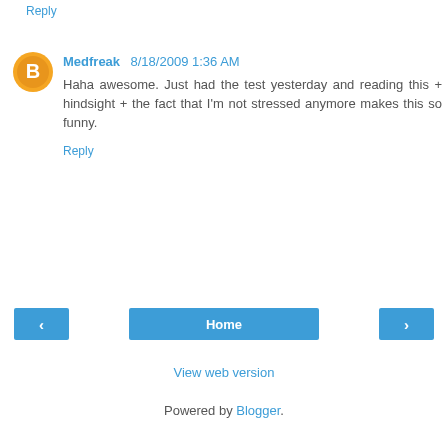Reply
Medfreak 8/18/2009 1:36 AM
Haha awesome. Just had the test yesterday and reading this + hindsight + the fact that I'm not stressed anymore makes this so funny.
Reply
< Home >
View web version
Powered by Blogger.